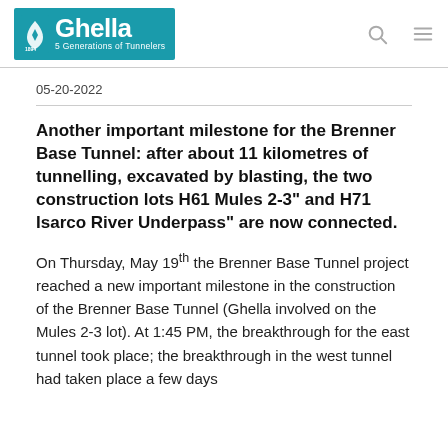Ghella — 5 Generations of Tunnelers
05-20-2022
Another important milestone for the Brenner Base Tunnel: after about 11 kilometres of tunnelling, excavated by blasting, the two construction lots H61 Mules 2-3" and H71 Isarco River Underpass" are now connected.
On Thursday, May 19th the Brenner Base Tunnel project reached a new important milestone in the construction of the Brenner Base Tunnel (Ghella involved on the Mules 2-3 lot). At 1:45 PM, the breakthrough for the east tunnel took place; the breakthrough in the west tunnel had taken place a few days